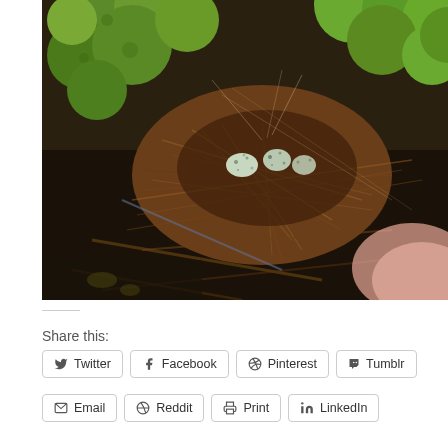[Figure (photo): Close-up photograph of a bird's nest containing small speckled eggs, surrounded by green fruits (likely unripe berries or small apples) on a plant. Brown twigs and hair-like fibres form the nest. A blurred pink/skin-toned object is visible in the lower right corner.]
Share this:
Twitter
Facebook
Pinterest
Tumblr
Email
Reddit
Print
LinkedIn